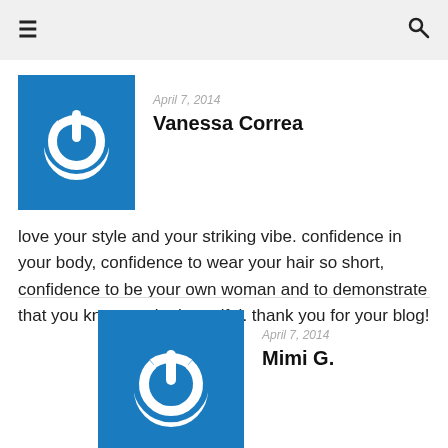≡  🔍
April 7, 2014
Vanessa Correa
love your style and your striking vibe. confidence in your body, confidence to wear your hair so short, confidence to be your own woman and to demonstrate that you know you're beautiful. thank you for your blog!
April 7, 2014
Mimi G.
Thank you so much Vanessa! xoxo